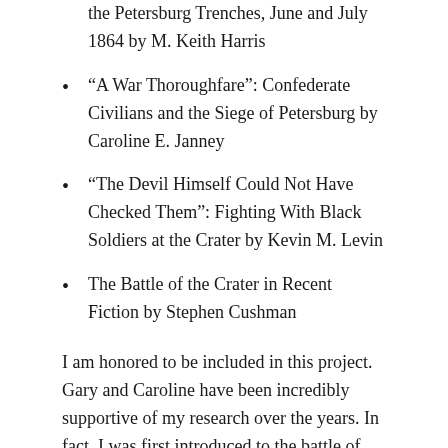the Petersburg Trenches, June and July 1864 by M. Keith Harris
“A War Thoroughfare”: Confederate Civilians and the Siege of Petersburg by Caroline E. Janney
“The Devil Himself Could Not Have Checked Them”: Fighting With Black Soldiers at the Crater by Kevin M. Levin
The Battle of the Crater in Recent Fiction by Stephen Cushman
I am honored to be included in this project. Gary and Caroline have been incredibly supportive of my research over the years. In fact, I was first introduced to the battle of the Crater in a summer teachers seminar taught by Gary at the University of Virginia back in 2001. Caroline was one of the most important professors I had in graduate school and